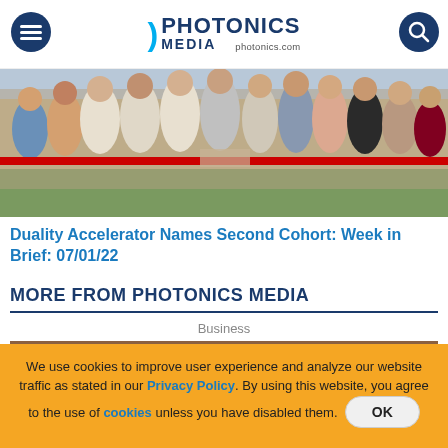PHOTONICS MEDIA photonics.com
[Figure (photo): Group of people at a ribbon-cutting ceremony outdoors, with a red ribbon stretched across in front of them.]
Duality Accelerator Names Second Cohort: Week in Brief: 07/01/22
MORE FROM PHOTONICS MEDIA
Business
[Figure (photo): Mars rover on reddish-brown rocky terrain.]
We use cookies to improve user experience and analyze our website traffic as stated in our Privacy Policy. By using this website, you agree to the use of cookies unless you have disabled them. OK